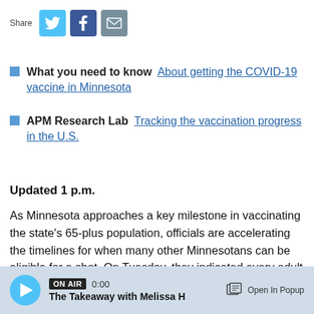[Figure (other): Share bar with Twitter, Facebook, and email icons]
What you need to know  About getting the COVID-19 vaccine in Minnesota
APM Research Lab  Tracking the vaccination progress in the U.S.
Updated 1 p.m.
As Minnesota approaches a key milestone in vaccinating the state's 65-plus population, officials are accelerating the timelines for when many other Minnesotans can be eligible for a shot. On Tuesday, they indicated every adult Minnesotan
[Figure (other): Audio player bar: ON AIR badge, 0:00 timestamp, The Takeaway with Melissa H, Open In Popup button]